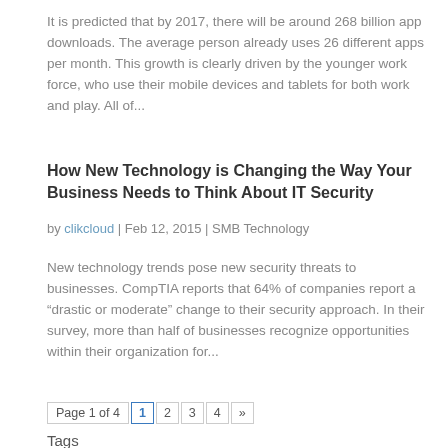It is predicted that by 2017, there will be around 268 billion app downloads. The average person already uses 26 different apps per month. This growth is clearly driven by the younger work force, who use their mobile devices and tablets for both work and play. All of...
How New Technology is Changing the Way Your Business Needs to Think About IT Security
by clikcloud | Feb 12, 2015 | SMB Technology
New technology trends pose new security threats to businesses. CompTIA reports that 64% of companies report a “drastic or moderate” change to their security approach. In their survey, more than half of businesses recognize opportunities within their organization for...
Page 1 of 4  1  2  3  4  »
Tags